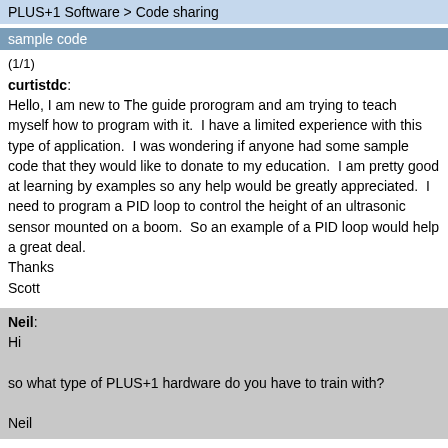PLUS+1 Software > Code sharing
sample code
(1/1)
curtistdc:
Hello, I am new to The guide prorogram and am trying to teach myself how to program with it.  I have a limited experience with this type of application.  I was wondering if anyone had some sample code that they would like to donate to my education.  I am pretty good at learning by examples so any help would be greatly appreciated.  I need to program a PID loop to control the height of an ultrasonic sensor mounted on a boom.  So an example of a PID loop would help a great deal.
Thanks
Scott
Neil:
Hi

so what type of PLUS+1 hardware do you have to train with?

Neil